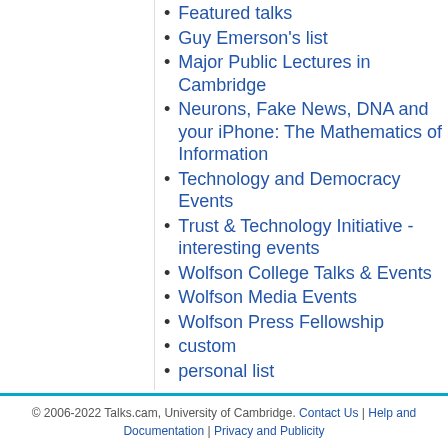Featured talks
Guy Emerson's list
Major Public Lectures in Cambridge
Neurons, Fake News, DNA and your iPhone: The Mathematics of Information
Technology and Democracy Events
Trust & Technology Initiative - interesting events
Wolfson College Talks & Events
Wolfson Media Events
Wolfson Press Fellowship
custom
personal list
Note that ex-directory lists are not shown.
© 2006-2022 Talks.cam, University of Cambridge. Contact Us | Help and Documentation | Privacy and Publicity